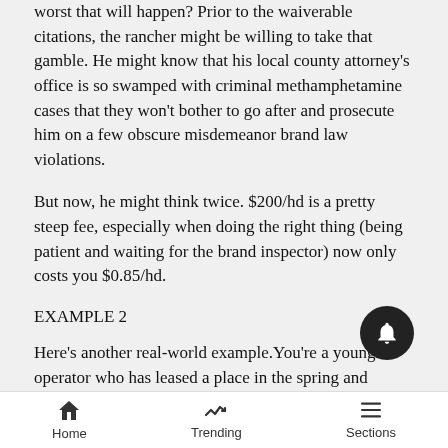worst that will happen? Prior to the waiverable citations, the rancher might be willing to take that gamble. He might know that his local county attorney's office is so swamped with criminal methamphetamine cases that they won't bother to go after and prosecute him on a few obscure misdemeanor brand law violations.
But now, he might think twice. $200/hd is a pretty steep fee, especially when doing the right thing (being patient and waiting for the brand inspector) now only costs you $0.85/hd.
EXAMPLE 2
Here's another real-world example. You're a young operator who has leased a place in the spring and
Home | Trending | Sections